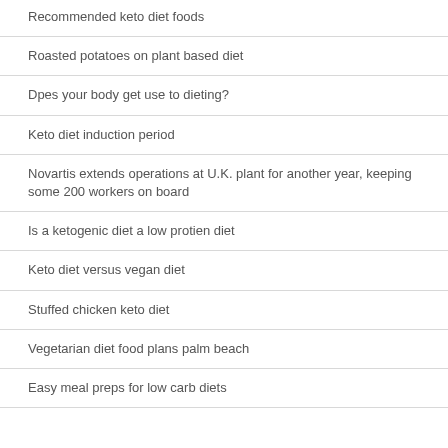Recommended keto diet foods
Roasted potatoes on plant based diet
Dpes your body get use to dieting?
Keto diet induction period
Novartis extends operations at U.K. plant for another year, keeping some 200 workers on board
Is a ketogenic diet a low protien diet
Keto diet versus vegan diet
Stuffed chicken keto diet
Vegetarian diet food plans palm beach
Easy meal preps for low carb diets